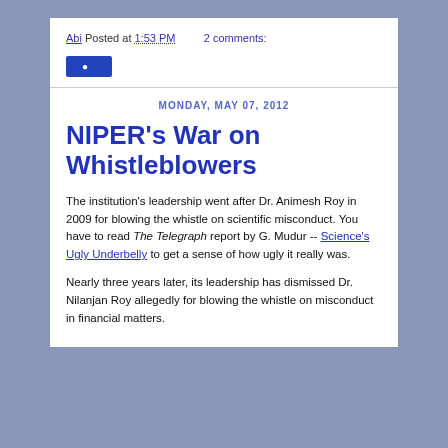Abi Posted at 1:53 PM   2 comments:
[Figure (other): Blue share/action button]
MONDAY, MAY 07, 2012
NIPER's War on Whistleblowers
The institution's leadership went after Dr. Animesh Roy in 2009 for blowing the whistle on scientific misconduct. You have to read The Telegraph report by G. Mudur -- Science's Ugly Underbelly to get a sense of how ugly it really was.
Nearly three years later, its leadership has dismissed Dr. Nilanjan Roy allegedly for blowing the whistle on misconduct in financial matters.